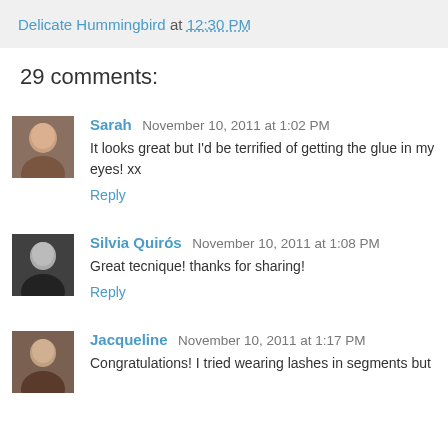Delicate Hummingbird at 12:30 PM
29 comments:
Sarah November 10, 2011 at 1:02 PM
It looks great but I'd be terrified of getting the glue in my eyes! xx
Reply
Silvia Quirós November 10, 2011 at 1:08 PM
Great tecnique! thanks for sharing!
Reply
Jacqueline November 10, 2011 at 1:17 PM
Congratulations! I tried wearing lashes in segments but